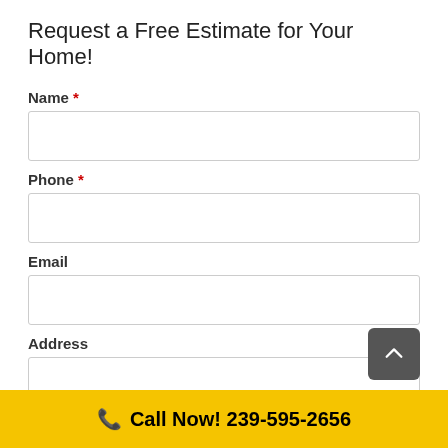Request a Free Estimate for Your Home!
Name *
Phone *
Email
Address
Address Line 1
Call Now! 239-595-2656